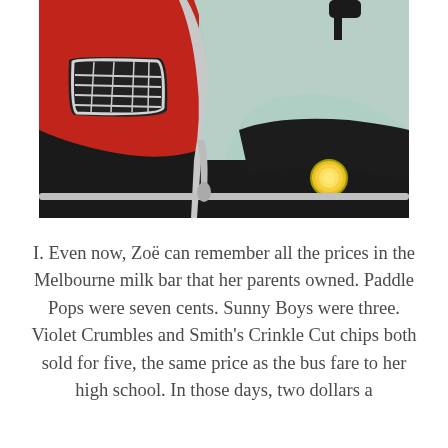[Figure (illustration): Close-up painting of the front of a vintage car, showing a red body on the left with a chrome grille, and a mint/light grey-green body on the right with a black bumper area and a small round yellow light, plus a black side mirror visible at the top.]
I. Even now, Zoë can remember all the prices in the Melbourne milk bar that her parents owned. Paddle Pops were seven cents. Sunny Boys were three. Violet Crumbles and Smith's Crinkle Cut chips both sold for five, the same price as the bus fare to her high school. In those days, two dollars a